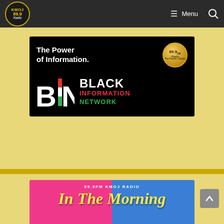KMOJ 89.9 Radio — Menu navigation bar
[Figure (logo): Black Information Network (BIN) advertisement banner. Top section shows 'The Power of Information.' in white text on black background with a gold radio station coin logo. Bottom section shows BIN logo letters in stylized black/white/red/green design with 'BLACK' in white, 'INFORMATION' in red, and 'NETWORK' in green text.]
[Figure (photo): 89.9FM KMOJ Radio 'In The Morning' show promotional card with pink and blue split background and yellow italic script title text.]